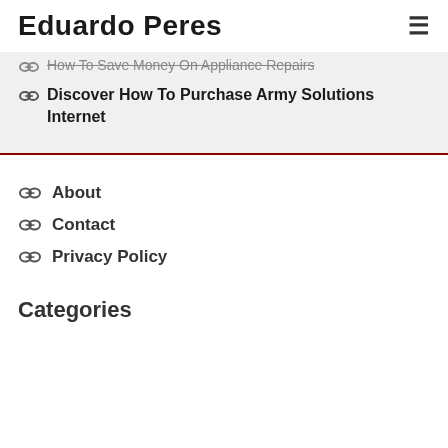Eduardo Peres
How To Save Money On Appliance Repairs
Discover How To Purchase Army Solutions Internet
About
Contact
Privacy Policy
Categories